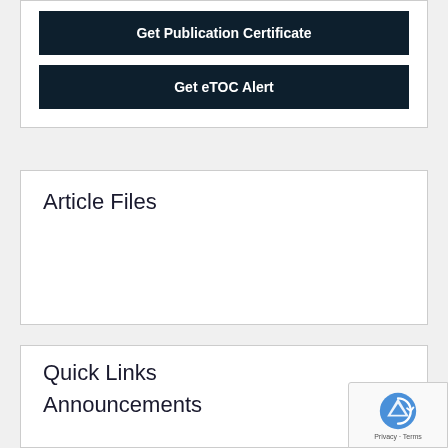Get Publication Certificate
Get eTOC Alert
Article Files
Quick Links
Announcements